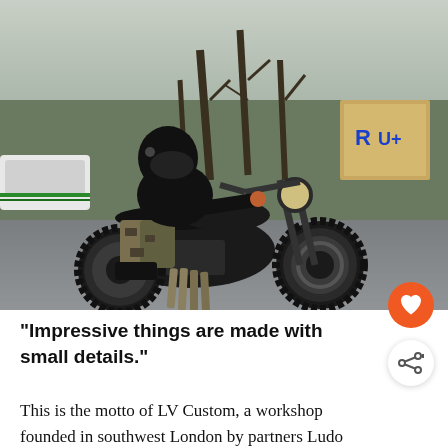[Figure (photo): A motorcyclist wearing a black helmet, black jacket, and camouflage pants rides a custom black scrambler/cafe-racer motorcycle on a wet road. The background shows bare winter trees, parked cars, and a wooden sign with 'R' visible. Overcast daylight conditions.]
“Impressive things are made with small details.”
This is the motto of LV Custom, a workshop founded in southwest London by partners Ludo